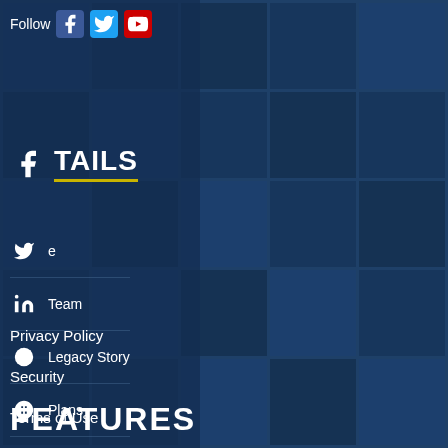Follow [Facebook] [Twitter] [YouTube]
TAILS
e
Team
Legacy Story
Plans
s
Privacy Policy
Security
Terms of Use
Contact Us
FEATURES